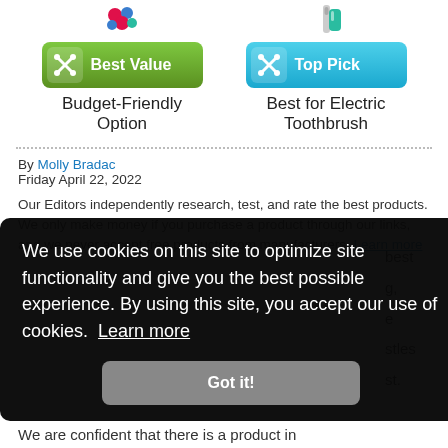[Figure (illustration): Product icons (colorful paw prints and toothbrush icons) at top]
[Figure (illustration): Green 'Best Value' badge button]
[Figure (illustration): Blue 'Top Pick' badge button]
Budget-Friendly Option
Best for Electric Toothbrush
By Molly Bradac
Friday April 22, 2022
Our Editors independently research, test, and rate the best products. We only make money if you purchase a product through our links, and we never accept free products from manufacturers. Learn more
[Figure (screenshot): Cookie consent popup overlay: 'We use cookies on this site to optimize site functionality and give you the best possible experience. By using this site, you accept our use of cookies. Learn more' with 'Got it!' button]
We are confident that there is a product in